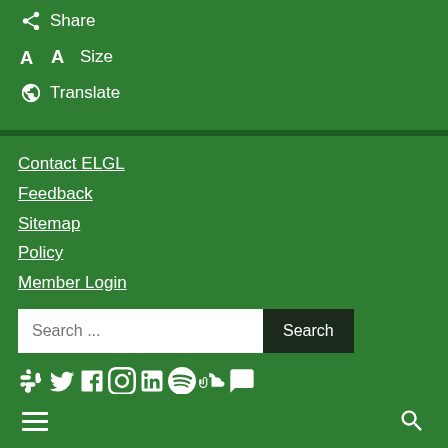Share
Size
Translate
Contact ELGL
Feedback
Sitemap
Policy
Member Login
Search ...
Powered by WordPress